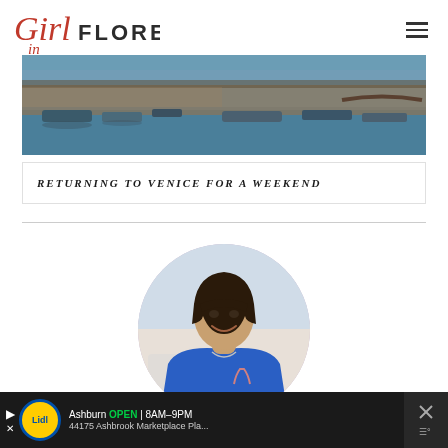Girl in Florence
[Figure (photo): Aerial panoramic photograph of Venice waterfront with gondolas, boats, and crowded canals]
RETURNING TO VENICE FOR A WEEKEND
[Figure (photo): Circular profile portrait photo of a smiling woman with dark hair wearing a blue top]
[Figure (other): Advertisement banner: Lidl store in Ashburn, OPEN 8AM-9PM, 44175 Ashbrook Marketplace Pla...]